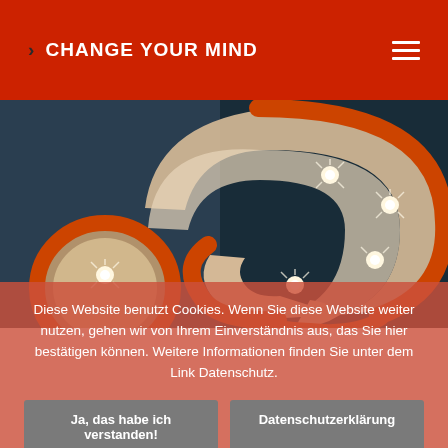> CHANGE YOUR MIND
[Figure (photo): A large illuminated question mark sign made of wood and orange metal frame with light bulbs, photographed against a dark teal background. A smaller round dot piece sits in front at the bottom left.]
Diese Website benutzt Cookies. Wenn Sie diese Website weiter nutzen, gehen wir von Ihrem Einverständnis aus, das Sie hier bestätigen können. Weitere Informationen finden Sie unter dem Link Datenschutz.
Ja, das habe ich verstanden!
Datenschutzerklärung